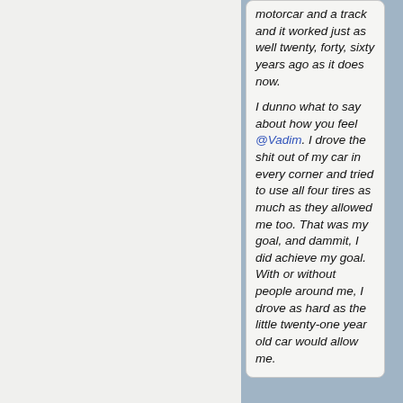motorcar and a track and it worked just as well twenty, forty, sixty years ago as it does now.

I dunno what to say about how you feel @Vadim. I drove the shit out of my car in every corner and tried to use all four tires as much as they allowed me too. That was my goal, and dammit, I did achieve my goal. With or without people around me, I drove as hard as the little twenty-one year old car would allow me.